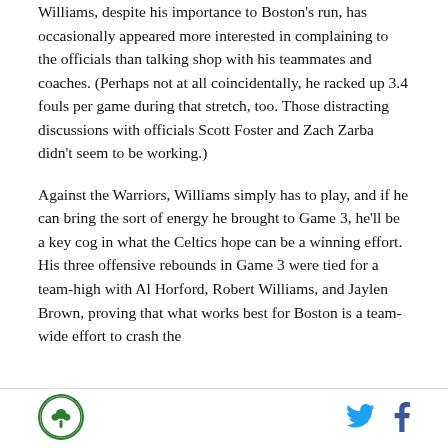Williams, despite his importance to Boston's run, has occasionally appeared more interested in complaining to the officials than talking shop with his teammates and coaches. (Perhaps not at all coincidentally, he racked up 3.4 fouls per game during that stretch, too. Those distracting discussions with officials Scott Foster and Zach Zarba didn't seem to be working.)
Against the Warriors, Williams simply has to play, and if he can bring the sort of energy he brought to Game 3, he'll be a key cog in what the Celtics hope can be a winning effort. His three offensive rebounds in Game 3 were tied for a team-high with Al Horford, Robert Williams, and Jaylen Brown, proving that what works best for Boston is a team-wide effort to crash the
[Figure (logo): Celtics green circular logo with shamrock]
[Figure (illustration): Twitter bird icon in blue]
[Figure (illustration): Facebook 'f' icon in dark blue]